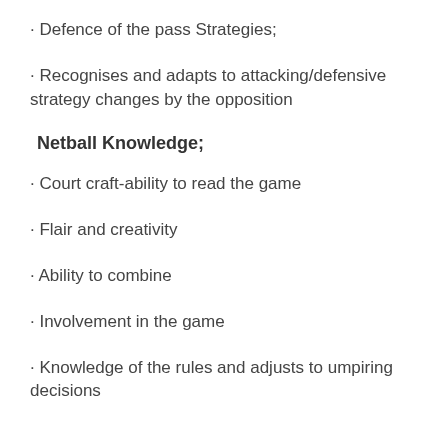· Defence of the pass Strategies;
· Recognises and adapts to attacking/defensive strategy changes by the opposition
Netball Knowledge;
· Court craft-ability to read the game
· Flair and creativity
· Ability to combine
· Involvement in the game
· Knowledge of the rules and adjusts to umpiring decisions